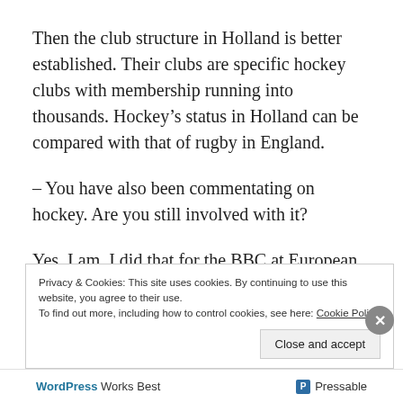Then the club structure in Holland is better established. Their clubs are specific hockey clubs with membership running into thousands. Hockey’s status in Holland can be compared with that of rugby in England.
– You have also been commentating on hockey. Are you still involved with it?
Yes, I am. I did that for the BBC at European Nations Championships last August at
Privacy & Cookies: This site uses cookies. By continuing to use this website, you agree to their use.
To find out more, including how to control cookies, see here: Cookie Policy
Close and accept
WordPress Works Best   Pressable